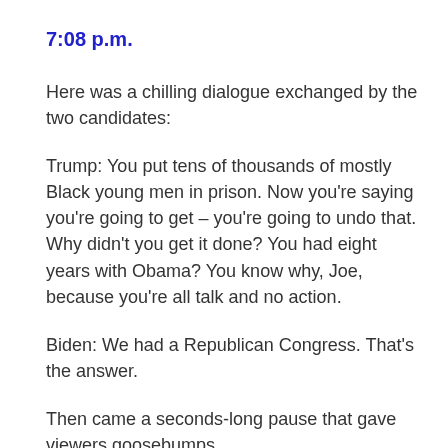7:08 p.m.
Here was a chilling dialogue exchanged by the two candidates:
Trump: You put tens of thousands of mostly Black young men in prison. Now you're saying you're going to get – you're going to undo that. Why didn't you get it done? You had eight years with Obama? You know why, Joe, because you're all talk and no action.
Biden: We had a Republican Congress. That's the answer.
Then came a seconds-long pause that gave viewers goosebumps.